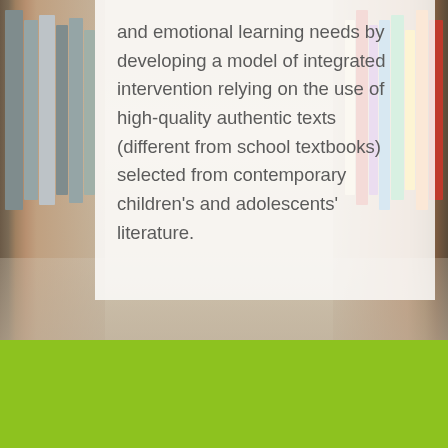[Figure (photo): Background photo of a library corridor with bookshelves on left and right sides, blurred perspective view with wooden floor]
and emotional learning needs by developing a model of integrated intervention relying on the use of high-quality authentic texts (different from school textbooks) selected from contemporary children's and adolescents' literature.